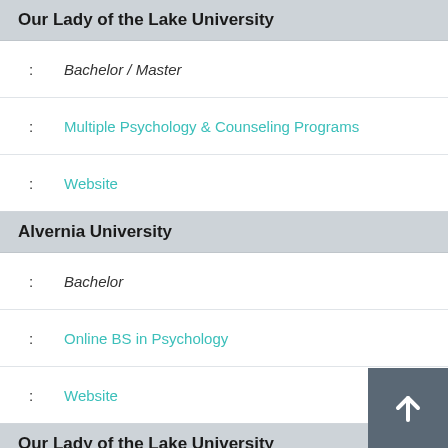Our Lady of the Lake University
: Bachelor / Master
: Multiple Psychology & Counseling Programs
: Website
Alvernia University
: Bachelor
: Online BS in Psychology
: Website
Our Lady of the Lake University
: Master
: Online Master of Clinical Mental Health
: Website